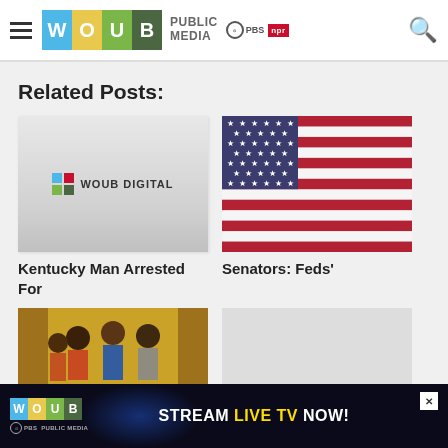[Figure (logo): WOUB Public Media header with hamburger menu, WOUB logo (W blue, O yellow, U green, B dark green), PUBLIC MEDIA text, PBS and NPR badges, and search icon]
Related Posts:
[Figure (logo): WOUB Digital logo placeholder thumbnail with grey background]
[Figure (photo): American flag photograph thumbnail]
Kentucky Man Arrested For
Senators: Feds'
[Figure (photo): Photo thumbnail showing group of people]
[Figure (photo): Gray placeholder thumbnail]
[Figure (infographic): WOUB advertisement banner: STREAM LIVE TV NOW! with WOUB Public Media logo and close button]